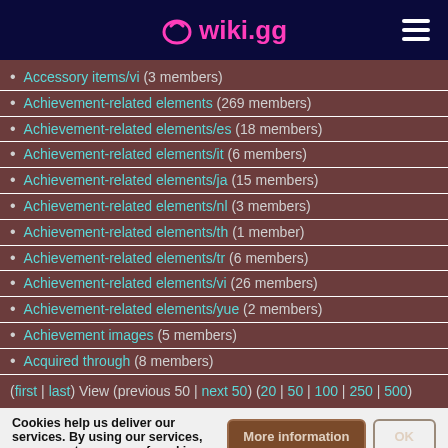wiki.gg
Accessory items/vi (3 members)
Achievement-related elements (269 members)
Achievement-related elements/es (18 members)
Achievement-related elements/it (6 members)
Achievement-related elements/ja (15 members)
Achievement-related elements/nl (3 members)
Achievement-related elements/th (1 member)
Achievement-related elements/tr (6 members)
Achievement-related elements/vi (26 members)
Achievement-related elements/yue (2 members)
Achievement images (5 members)
Acquired through (8 members)
(first | last) View (previous 50 | next 50) (20 | 50 | 100 | 250 | 500)
Cookies help us deliver our services. By using our services, you agree to our use of cookies.
A wiki | Terms of Service | More information | OK